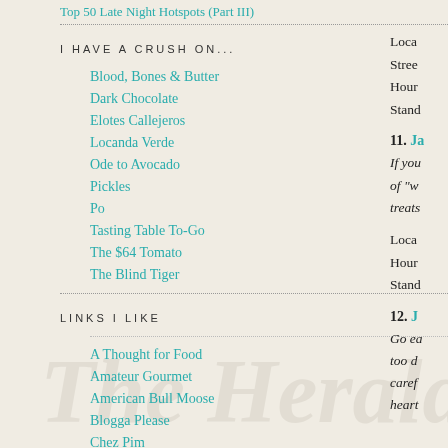Top 50 Late Night Hotspots (Part III)
I HAVE A CRUSH ON...
Blood, Bones & Butter
Dark Chocolate
Elotes Callejeros
Locanda Verde
Ode to Avocado
Pickles
Po
Tasting Table To-Go
The $64 Tomato
The Blind Tiger
LINKS I LIKE
A Thought for Food
Amateur Gourmet
American Bull Moose
Blogga Please
Chez Pim
Chocolate and Zucchini
Loca
Stree
Hour
Stand
11. Ja
If you of "w treats
Loca
Hour
Stand
12. J
Go ea too d caref heart